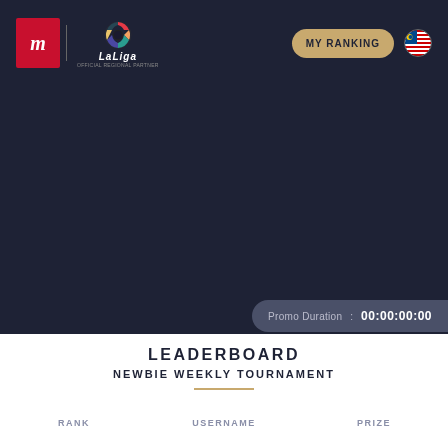MY RANKING
[Figure (screenshot): Dark banner area for promotional/hero image section]
Promo Duration : 00:00:00:00
LEADERBOARD
NEWBIE WEEKLY TOURNAMENT
| RANK | USERNAME | PRIZE |
| --- | --- | --- |